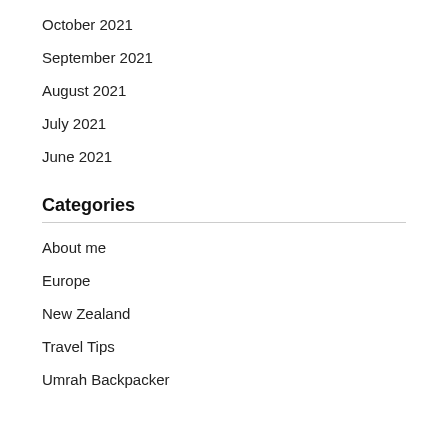October 2021
September 2021
August 2021
July 2021
June 2021
Categories
About me
Europe
New Zealand
Travel Tips
Umrah Backpacker